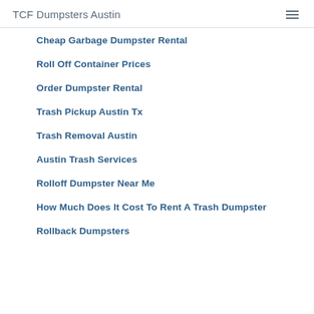TCF Dumpsters Austin
Cheap Garbage Dumpster Rental
Roll Off Container Prices
Order Dumpster Rental
Trash Pickup Austin Tx
Trash Removal Austin
Austin Trash Services
Rolloff Dumpster Near Me
How Much Does It Cost To Rent A Trash Dumpster
Rollback Dumpsters